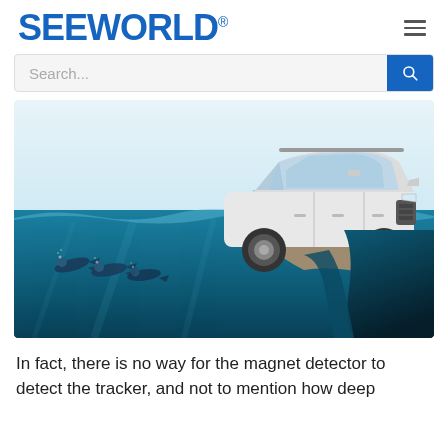SEEWORLD®
[Figure (screenshot): Search bar with blue search button icon on grey background]
[Figure (photo): Split-view photo showing a white SUV (Nissan X-Trail style) parked on rocky terrain above water, while divers swim underwater below, set against a light blue sky background.]
In fact, there is no way for the magnet detector to detect the tracker, and not to mention how deep